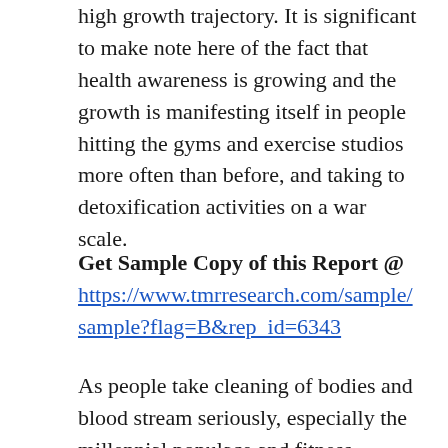high growth trajectory. It is significant to make note here of the fact that health awareness is growing and the growth is manifesting itself in people hitting the gyms and exercise studios more often than before, and taking to detoxification activities on a war scale.
Get Sample Copy of this Report @ https://www.tmrresearch.com/sample/sample?flag=B&rep_id=6343
As people take cleaning of bodies and blood stream seriously, especially the millennial populace and fitness enthusiasts, the demand for detox products increases substantially. And, it is significant to note here that the more